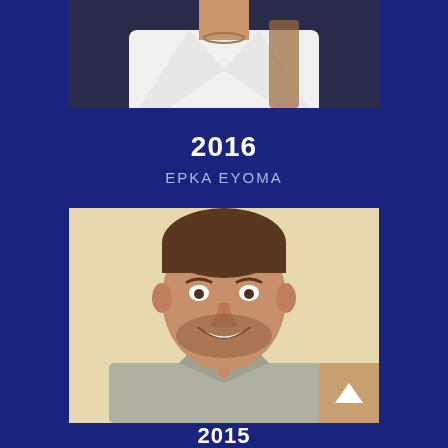[Figure (photo): Top portion of a person in a white lab coat with a necklace, cropped at mid-chest level, dark background]
2016
EPKA EYOMA
[Figure (photo): Headshot of a young man with brown hair and beard, smiling, wearing a grey button-down shirt and salmon/pink tie, against a light beige background]
2015